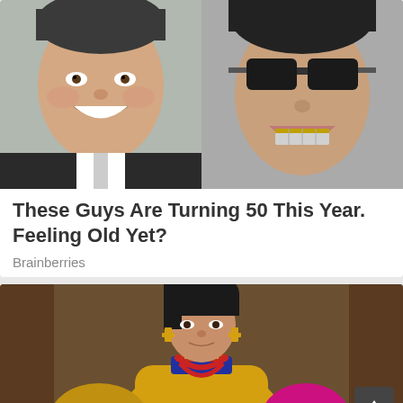[Figure (photo): Two celebrity photos side by side: left shows a smiling man in a suit, right shows a person with braces wearing sunglasses]
These Guys Are Turning 50 This Year. Feeling Old Yet?
Brainberries
[Figure (photo): Woman in traditional Bhutanese golden silk dress with red bead necklace and gold cross earrings, standing in front of traditional architecture]
Such A Sweet Life Story Of The Youngest